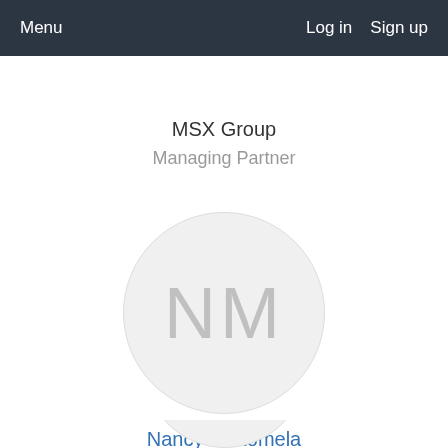Menu   Log in   Sign up
MSX Group
Managing Partner
[Figure (illustration): Circular avatar placeholder with initials NM in light gray on a light gray circle background]
Nancy Mukomela
[Figure (illustration): Partial circular avatar placeholder visible at bottom of page]